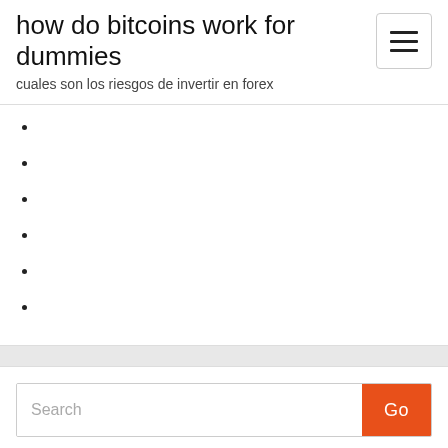how do bitcoins work for dummies
cuales son los riesgos de invertir en forex
Search
New Posts